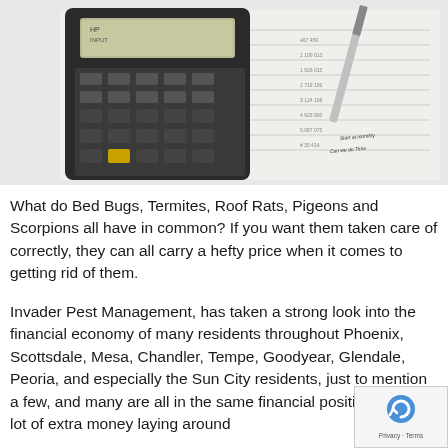[Figure (photo): Photo of a financial calculator placed on top of printed financial documents/spreadsheets with a pen visible in the background]
What do Bed Bugs, Termites, Roof Rats, Pigeons and Scorpions all have in common? If you want them taken care of correctly, they can all carry a hefty price when it comes to getting rid of them.
Invader Pest Management, has taken a strong look into the financial economy of many residents throughout Phoenix, Scottsdale, Mesa, Chandler, Tempe, Goodyear, Glendale, Peoria, and especially the Sun City residents, just to mention a few, and many are all in the same financial position; NOT a lot of extra money laying around